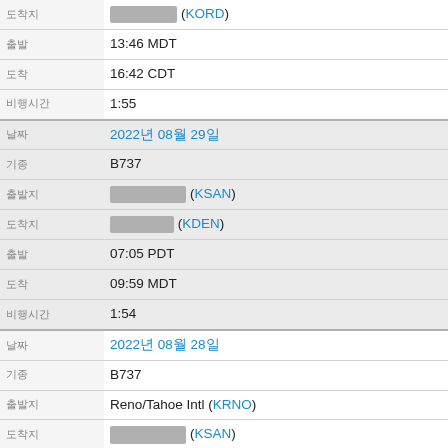| label | value |
| --- | --- |
| 도착지 | [redacted] (KORD) |
| 출발 | 13:46 MDT |
| 도착 | 16:42 CDT |
| 비행시간 | 1:55 |
| 날짜 | 2022년 08월 29일 |
| 기종 | B737 |
| 출발지 | [redacted] (KSAN) |
| 도착지 | [redacted] (KDEN) |
| 출발 | 07:05 PDT |
| 도착 | 09:59 MDT |
| 비행시간 | 1:54 |
| 날짜 | 2022년 08월 28일 |
| 기종 | B737 |
| 출발지 | Reno/Tahoe Intl (KRNO) |
| 도착지 | [redacted] (KSAN) |
| 출발 | 21:37 PDT |
| 도착 | 22:52 PDT |
| 비행시간 | 1:15 |
| 날짜 | 2022년 08월 28일 |
| 기종 | B737 |